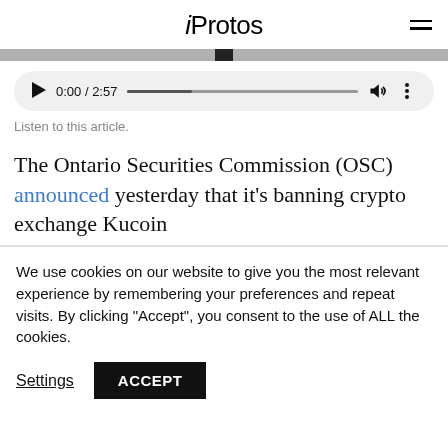iProtos
[Figure (screenshot): Audio player widget showing 0:00 / 2:57 with play button, progress bar, volume and more options icons]
Listen to this article.
The Ontario Securities Commission (OSC) announced yesterday that it's banning crypto exchange Kucoin
We use cookies on our website to give you the most relevant experience by remembering your preferences and repeat visits. By clicking “Accept”, you consent to the use of ALL the cookies.
Settings   ACCEPT